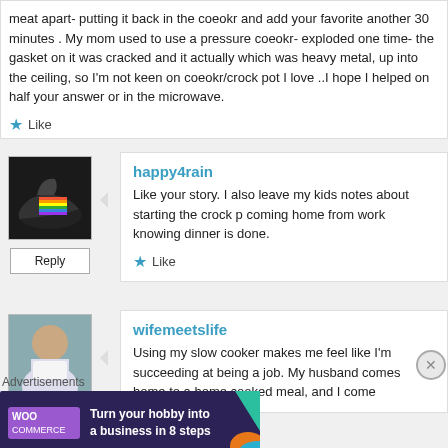meat apart- putting it back in the coeokr and add your favorite another 30 minutes . My mom used to use a pressure coeokr- exploded one time- the gasket on it was cracked and it actually which was heavy metal, up into the ceiling, so I'm not keen on coeokr/crock pot I love ..I hope I helped on half your answer or in the microwave.
Like
[Figure (photo): User avatar showing sneaker/shoe with rainbow colors]
Reply
happy4rain
Like your story. I also leave my kids notes about starting the crock p coming home from work knowing dinner is done.
Like
[Figure (photo): User avatar showing a person, likely a woman]
Reply
wifemeetslife
Using my slow cooker makes me feel like I'm succeeding at being a job. My husband comes home to a home cooked meal, and I come
Advertisements
[Figure (screenshot): WooCommerce advertisement banner: Turn your hobby into a business in 8 steps]